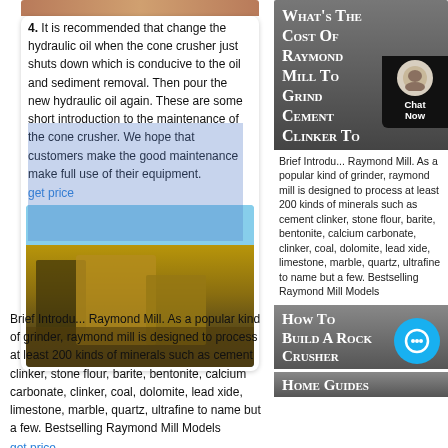[Figure (photo): Top strip image showing reddish-brown crushed rock material]
4. It is recommended that change the hydraulic oil when the cone crusher just shuts down which is conducive to the oil and sediment removal. Then pour the new hydraulic oil again. These are some short introduction to the maintenance of the cone crusher. We hope that customers make the good maintenance make full use of their equipment.
get price
[Figure (photo): Mining/quarrying machinery and equipment on site with blue sky background]
What's The Cost Of Raymond Mill To Grind Cement Clinker To
Brief Introduction Raymond Mill. As a popular kind of grinder, raymond mill is designed to process at least 200 kinds of minerals such as cement clinker, stone flour, barite, bentonite, calcium carbonate, clinker, coal, dolomite, lead xide, limestone, marble, quartz, ultrafine to name but a few. Bestselling Raymond Mill Models
get price
[Figure (photo): Industrial machinery/crane equipment on blue sky background]
How To Build A Rock Crusher
Home Guides